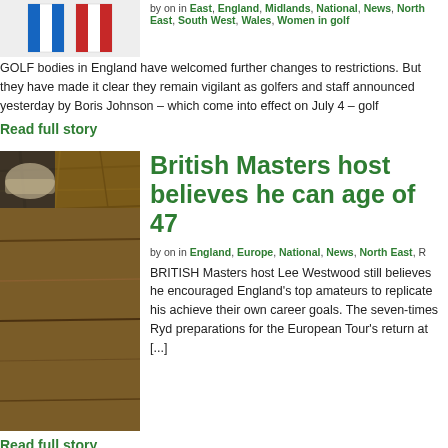[Figure (photo): Two flags side by side - blue and red vertical stripes flags]
by on in East, England, Midlands, National, News, North East, South West, Wales, Women in golf
GOLF bodies in England have welcomed further changes to restrictions. But they have made it clear they remain vigilant as golfers and staff announced yesterday by Boris Johnson – which come into effect on July 4 – golf
Read full story
[Figure (photo): Close-up photo of wooden surface with hand or glove visible]
British Masters host believes he can age of 47
by on in England, Europe, National, News, North East, R
BRITISH Masters host Lee Westwood still believes he encouraged England's top amateurs to replicate his achieve their own career goals. The seven-times Ryd preparations for the European Tour's return at [...]
Read full story